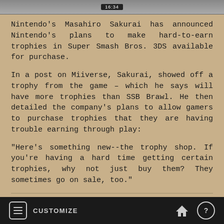[Figure (screenshot): Top bar of a mobile app showing a status bar or video timestamp reading '16:34']
Nintendo's Masahiro Sakurai has announced Nintendo's plans to make hard-to-earn trophies in Super Smash Bros. 3DS available for purchase.
In a post on Miiverse, Sakurai, showed off a trophy from the game – which he says will have more trophies than SSB Brawl. He then detailed the company's plans to allow gamers to purchase trophies that they are having trouble earning through play:
"Here's something new--the trophy shop. If you're having a hard time getting certain trophies, why not just buy them? They sometimes go on sale, too."
Surgeon Simulator Anniversary Edition Comes To Life On PS4 Next
CUSTOMIZE